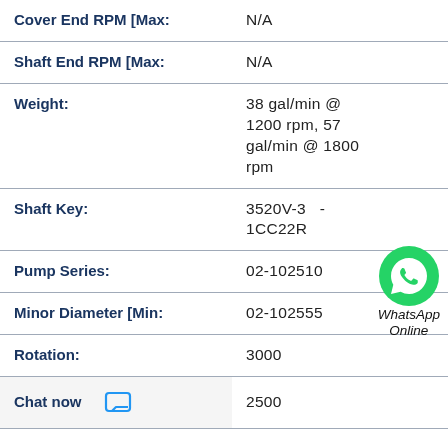| Field | Value |
| --- | --- |
| Cover End RPM [Max: | N/A |
| Shaft End RPM [Max: | N/A |
| Weight: | 38 gal/min @ 1200 rpm, 57 gal/min @ 1800 rpm |
| Shaft Key: | 3520V-3 -1CC22R |
| Pump Series: | 02-102510 |
| Minor Diameter [Min: | 02-102555 |
| Rotation: | 3000 |
|  | 2500 |